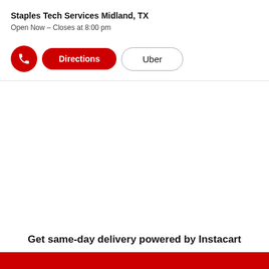Staples Tech Services Midland, TX
Open Now – Closes at 8:00 pm
[Figure (screenshot): Action buttons row: red phone icon button, red 'Directions' pill button, outlined 'Uber' pill button]
Get same-day delivery powered by Instacart